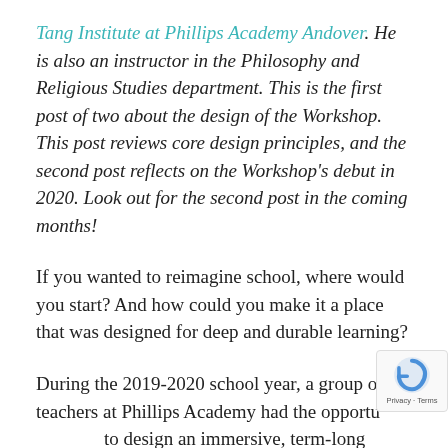Tang Institute at Phillips Academy Andover. He is also an instructor in the Philosophy and Religious Studies department. This is the first post of two about the design of the Workshop. This post reviews core design principles, and the second post reflects on the Workshop's debut in 2020. Look out for the second post in the coming months!
If you wanted to reimagine school, where would you start? And how could you make it a place that was designed for deep and durable learning?
During the 2019-2020 school year, a group of teachers at Phillips Academy had the opportunity to design an immersive, term-long program called the Workshop. The basic parameters were: